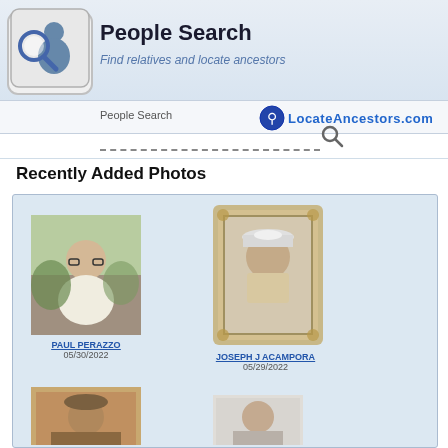People Search — Find relatives and locate ancestors
People Search
[Figure (logo): LocateAncestors.com logo with magnifier and person icon on keyboard key]
Recently Added Photos
[Figure (photo): Photo of Paul Perazzo, an older bald man smiling outdoors]
PAUL PERAZZO
05/30/2022
[Figure (photo): Photo of Joseph J Acampora in a decorative frame, wearing a hat]
JOSEPH J ACAMPORA
05/29/2022
[Figure (photo): Partially visible photo at bottom left]
[Figure (photo): Partially visible photo at bottom right]